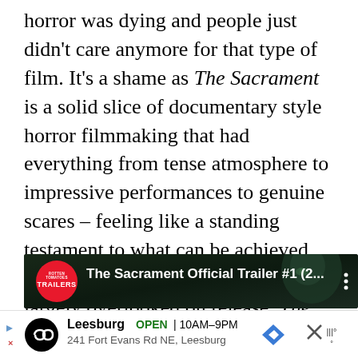horror was dying and people just didn't care anymore for that type of film. It's a shame as The Sacrament is a solid slice of documentary style horror filmmaking that had everything from tense atmosphere to impressive performances to genuine scares – feeling like a standing testament to what can be achieved with the form. Even though it was largely overlooked on release, The Sacrament is more than worthy of a visit now.
[Figure (screenshot): YouTube video thumbnail showing 'The Sacrament Official Trailer #1 (2...' with a Trailers badge (red circle with TRAILERS text) and three-dot menu. Dark green-toned image with a close-up face visible.]
[Figure (screenshot): Advertisement bar showing: Leesburg OPEN 10AM-9PM, 241 Fort Evans Rd NE, Leesburg. Shows a store logo circle, navigation arrow icon, close X button, and weather/temperature icon.]